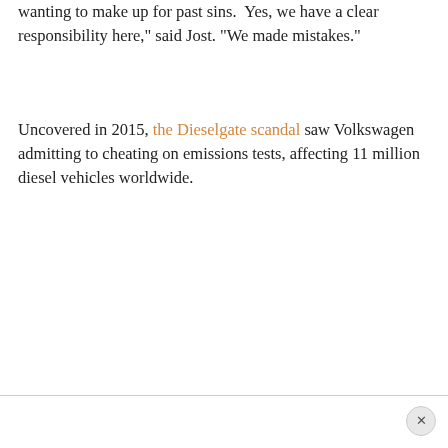wanting to make up for past sins.  Yes, we have a clear responsibility here," said Jost. "We made mistakes."
Uncovered in 2015, the Dieselgate scandal saw Volkswagen admitting to cheating on emissions tests, affecting 11 million diesel vehicles worldwide.